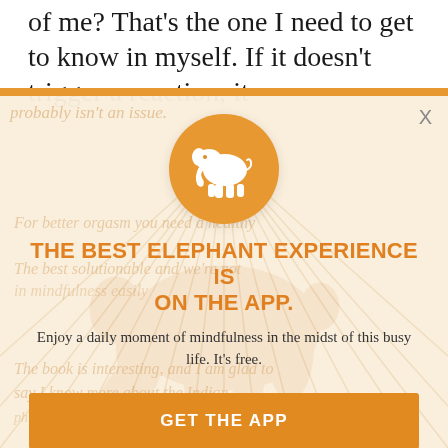of me? That's the one I need to get to know in myself. If it doesn't trigger a reaction, it
[Figure (screenshot): App promotion modal overlay with orange elephant logo circle, orange title text, subtitle text, and two buttons on a faded article background]
THE BEST ELEPHANT EXPERIENCE IS ON THE APP.
Enjoy a daily moment of mindfulness in the midst of this busy life. It's free.
GET THE APP
OPEN IN APP